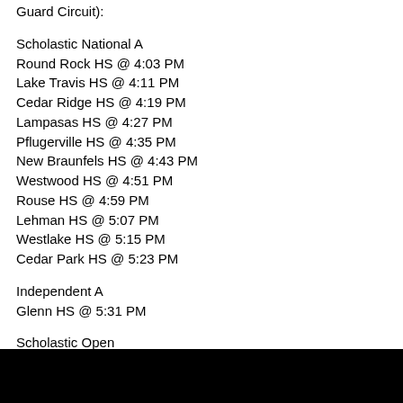Guard Circuit):
Scholastic National A
Round Rock HS @ 4:03 PM
Lake Travis HS @ 4:11 PM
Cedar Ridge HS @ 4:19 PM
Lampasas HS @ 4:27 PM
Pflugerville HS @ 4:35 PM
New Braunfels HS @ 4:43 PM
Westwood HS @ 4:51 PM
Rouse HS @ 4:59 PM
Lehman HS @ 5:07 PM
Westlake HS @ 5:15 PM
Cedar Park HS @ 5:23 PM
Independent A
Glenn HS @ 5:31 PM
Scholastic Open
Ronald Reagan HS @ 6:39 PM
Leander HS @ 6:48 PM
McNeil HS @ 6:57 PM
Independent Open
Origins @ 7:06 PM